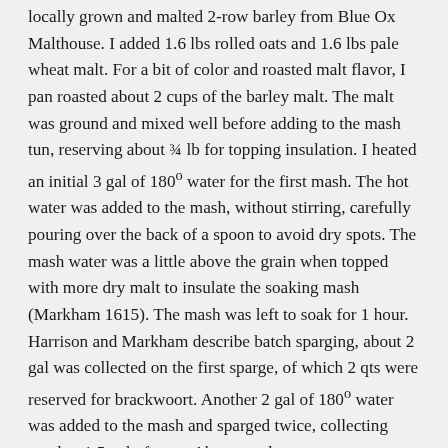locally grown and malted 2-row barley from Blue Ox Malthouse. I added 1.6 lbs rolled oats and 1.6 lbs pale wheat malt. For a bit of color and roasted malt flavor, I pan roasted about 2 cups of the barley malt. The malt was ground and mixed well before adding to the mash tun, reserving about ¾ lb for topping insulation. I heated an initial 3 gal of 180° water for the first mash. The hot water was added to the mash, without stirring, carefully pouring over the back of a spoon to avoid dry spots. The mash water was a little above the grain when topped with more dry malt to insulate the soaking mash (Markham 1615). The mash was left to soak for 1 hour. Harrison and Markham describe batch sparging, about 2 gal was collected on the first sparge, of which 2 qts were reserved for brackwoort. Another 2 gal of 180° water was added to the mash and sparged twice, collecting another 1.5 gal of wort. About a gal or so more water was added to collect a third wort.
Each of the three worts were brought to a boil over an open fire. Only the first wort was hopped with East Kent Goldings...